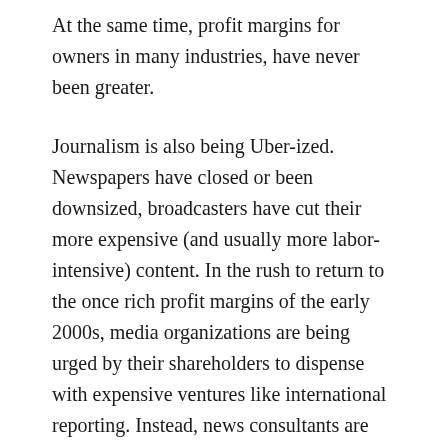At the same time, profit margins for owners in many industries, have never been greater.
Journalism is also being Uber-ized.  Newspapers have closed or been downsized, broadcasters have cut their more expensive (and usually more labor-intensive) content. In the rush to return to the once rich profit margins of the early 2000s, media organizations are being urged by their shareholders to dispense with expensive ventures like international reporting. Instead, news consultants are hired to telling their news clients that weather, traffic and crime (WTC) are what most audiences prefer.
Not co-incidentally, WTC also happens to be the cheapest and most readily available content. And all